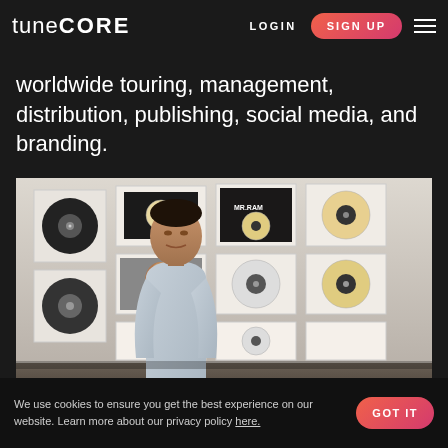tune CORE  LOGIN  SIGN UP
live acts at every step of an artist's career. In this capacity he's been involved with everything from worldwide touring, management, distribution, publishing, social media, and branding.
[Figure (photo): A man in a light blue dress shirt standing in front of a wall covered with framed music records and album artwork posters. The photo is taken indoors in what appears to be a music industry office or gallery.]
Fabrizio Tudisco – Country Manager Italy
We use cookies to ensure you get the best experience on our website. Learn more about our privacy policy here.